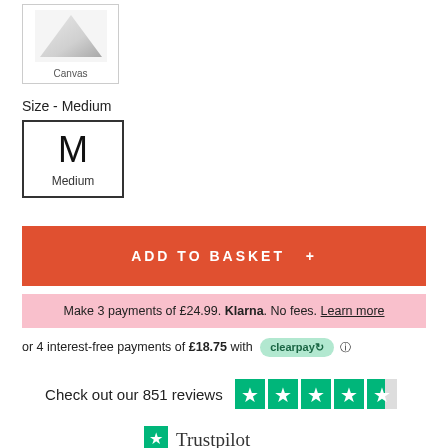[Figure (screenshot): Canvas swatch thumbnail showing a grey gradient shape, labelled 'Canvas']
Size - Medium
[Figure (screenshot): Size swatch box showing letter M and text 'Medium']
ADD TO BASKET +
Make 3 payments of £24.99. Klarna. No fees. Learn more
or 4 interest-free payments of £18.75 with clearpay
Check out our 851 reviews
[Figure (logo): Trustpilot logo with star and Trustpilot text]